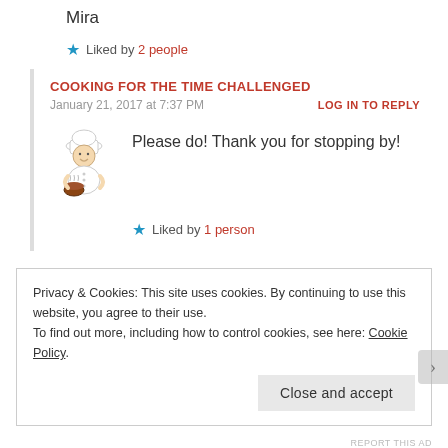Mira
★ Liked by 2 people
COOKING FOR THE TIME CHALLENGED
January 21, 2017 at 7:37 PM
LOG IN TO REPLY
[Figure (illustration): Cartoon chef avatar holding a bowl]
Please do! Thank you for stopping by!
★ Liked by 1 person
Privacy & Cookies: This site uses cookies. By continuing to use this website, you agree to their use.
To find out more, including how to control cookies, see here: Cookie Policy
Close and accept